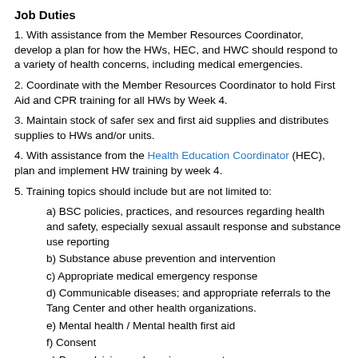Job Duties
1. With assistance from the Member Resources Coordinator, develop a plan for how the HWs, HEC, and HWC should respond to a variety of health concerns, including medical emergencies.
2. Coordinate with the Member Resources Coordinator to hold First Aid and CPR training for all HWs by Week 4.
3. Maintain stock of safer sex and first aid supplies and distributes supplies to HWs and/or units.
4. With assistance from the Health Education Coordinator (HEC), plan and implement HW training by week 4.
5. Training topics should include but are not limited to:
a) BSC policies, practices, and resources regarding health and safety, especially sexual assault response and substance use reporting
b) Substance abuse prevention and intervention
c) Appropriate medical emergency response
d) Communicable diseases; and appropriate referrals to the Tang Center and other health organizations.
e) Mental health / Mental health first aid
f) Consent
g) Peer advising and survivor support
h) Health Worker job duties and responsibilities